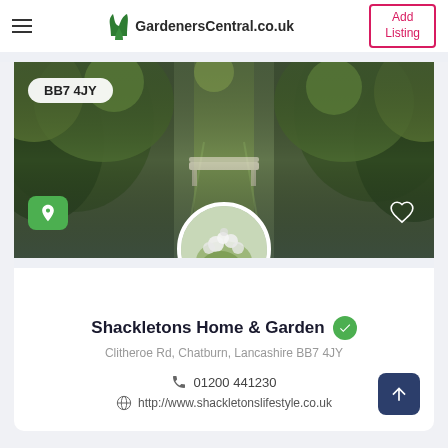GardenersCentral.co.uk — Add Listing
[Figure (screenshot): Hero banner image showing a garden path lined with lush green trees and shrubs, with a white bench visible in the distance. Postcode badge BB7 4JY overlaid top-left. Green location pin button bottom-left. Heart icon bottom-right. Circular profile photo of white flowers centered at bottom edge.]
Shackletons Home & Garden
Clitheroe Rd, Chatburn, Lancashire BB7 4JY
01200 441230
http://www.shackletonslifestyle.co.uk